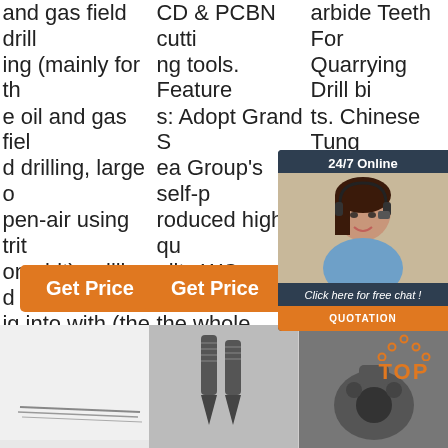and gas field drilling (mainly for the oil and gas field drilling, large open-air using tristone bit), milling dig into with (the button is mainly used in coal ...
CD & PCBN cutting tools. Features: Adopt Grand Sea Group's self-produced high-quality WC powder; the whole series of Sinter-Hip sintering process.
arbide Teeth For Quarrying Drill bits. Chinese Tungsten Carbide Buttons Wear Resistance National Best ...
[Figure (other): 24/7 online chat widget with female customer service representative, 'Click here for free chat!' text, and orange QUOTATION button]
Get Price (button 1)
Get Price (button 2)
G... (button 3, partially hidden)
[Figure (photo): Bottom left: photo of thin metal drill rods/needles on white background]
[Figure (photo): Bottom center: photo of tungsten carbide drill bits with threaded shanks on grey background]
[Figure (photo): Bottom right: photo of a dark metal industrial drill bit component]
TOP